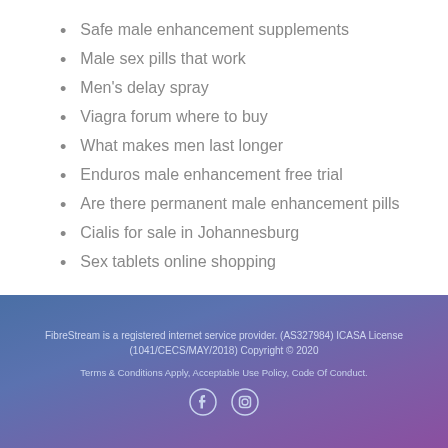Safe male enhancement supplements
Male sex pills that work
Men's delay spray
Viagra forum where to buy
What makes men last longer
Enduros male enhancement free trial
Are there permanent male enhancement pills
Cialis for sale in Johannesburg
Sex tablets online shopping
FibreStream is a registered internet service provider. (AS327984) ICASA License (1041/CECS/MAY/2018) Copyright © 2020
Terms & Conditions Apply, Acceptable Use Policy, Code Of Conduct.